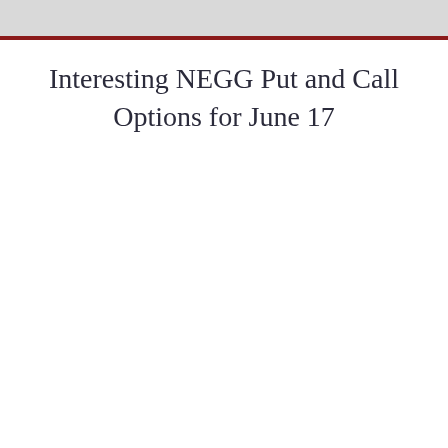Interesting NEGG Put and Call Options for June 17